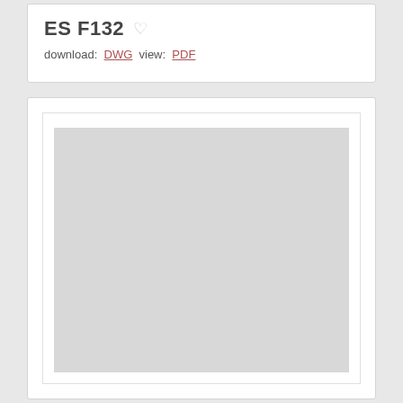ES F132
download: DWG  view: PDF
[Figure (other): Large gray preview/placeholder area for an engineering drawing document (ES F132), shown as a blank gray rectangle within a white bordered card.]